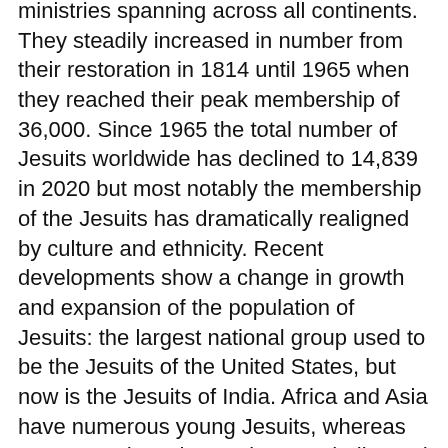ministries spanning across all continents. They steadily increased in number from their restoration in 1814 until 1965 when they reached their peak membership of 36,000. Since 1965 the total number of Jesuits worldwide has declined to 14,839 in 2020 but most notably the membership of the Jesuits has dramatically realigned by culture and ethnicity. Recent developments show a change in growth and expansion of the population of Jesuits: the largest national group used to be the Jesuits of the United States, but now is the Jesuits of India. Africa and Asia have numerous young Jesuits, whereas Europe and North America are challenged by a large number of elderly Jesuits.
Worldwide the changing number of Jesuits is driven by three factors: the number of men entering the novitiate, the number of men departing the Jesuits, and the number of Jesuits that die each year. A growth in the number of Jesuit usually implies entrance groups being larger in number than the groups who leave or die. A steady decline would be the reverse of this.
For administrative purposes the Society of Jesus is organized into 72 provinces and independent regions. They